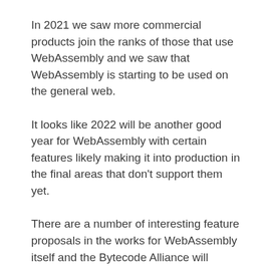In 2021 we saw more commercial products join the ranks of those that use WebAssembly and we saw that WebAssembly is starting to be used on the general web.
It looks like 2022 will be another good year for WebAssembly with certain features likely making it into production in the final areas that don't support them yet.
There are a number of interesting feature proposals in the works for WebAssembly itself and the Bytecode Alliance will continue working on features that will help WebAssembly expand its use outside the browser.